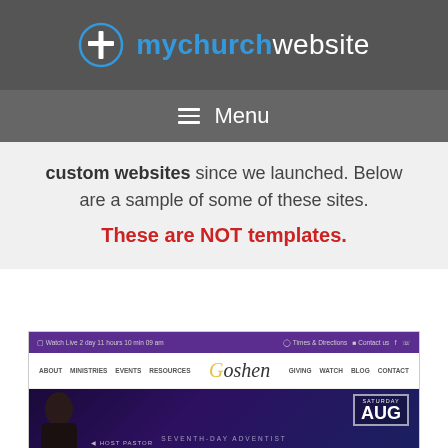mychurchwebsite
Menu
custom websites since we launched. Below are a sample of some of these sites.
These are NOT templates.
[Figure (screenshot): Screenshot of a Seventh-day Adventist church website called Goshen with purple navigation bar, white menu bar with logo, and hero image showing a pastor]